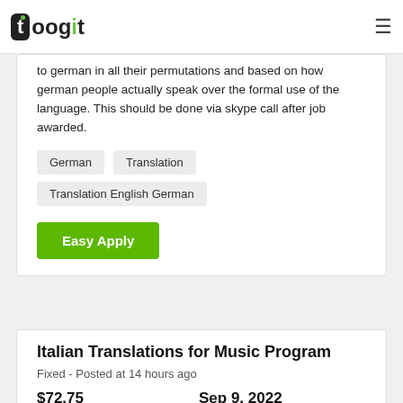toogit
to german in all their permutations and based on how german people actually speak over the formal use of the language. This should be done via skype call after job awarded.
German
Translation
Translation English German
Easy Apply
Italian Translations for Music Program
Fixed - Posted at 14 hours ago
$72.75   Sep 9, 2022